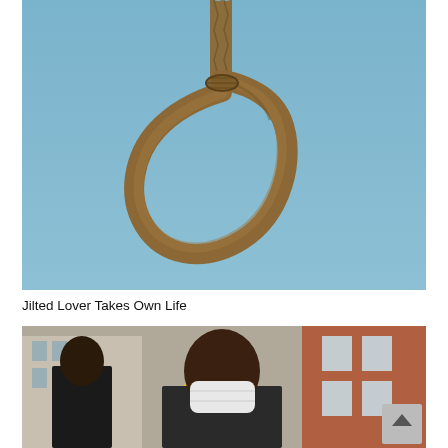[Figure (photo): A rope tied in a hangman's noose against a clear blue sky background.]
Jilted Lover Takes Own Life
[Figure (photo): A man wearing a white face mask standing outdoors with buildings in the background; another person in a dark suit visible beside him.]